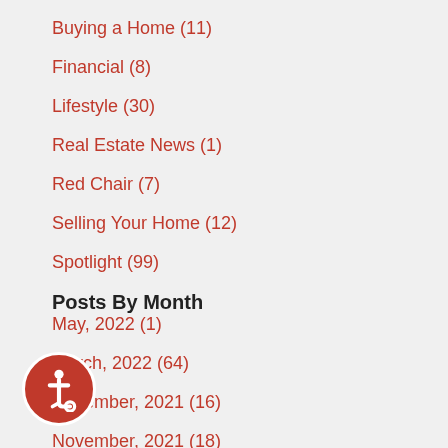Buying a Home  (11)
Financial  (8)
Lifestyle  (30)
Real Estate News  (1)
Red Chair  (7)
Selling Your Home  (12)
Spotlight  (99)
Posts By Month
May, 2022  (1)
March, 2022  (64)
December, 2021  (16)
November, 2021  (18)
October, 2021  (7)
September, 2021  (3)
March, 2021  (4)